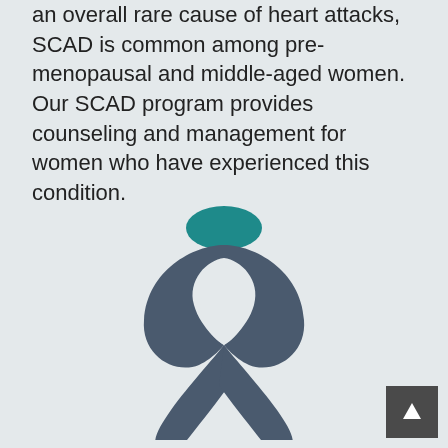an overall rare cause of heart attacks, SCAD is common among pre-menopausal and middle-aged women. Our SCAD program provides counseling and management for women who have experienced this condition.
[Figure (illustration): A awareness ribbon icon with a teal/dark teal top section and dark slate-blue body, positioned in the lower center of the page.]